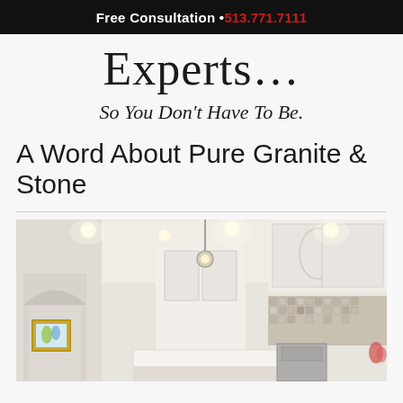Free Consultation • 513.771.7111
Experts…
So You Don't Have To Be.
A Word About Pure Granite & Stone
[Figure (photo): Interior kitchen photo showing white cabinetry, recessed ceiling lights, pendant light, stainless appliances, mosaic tile backsplash, and a framed artwork on the wall.]